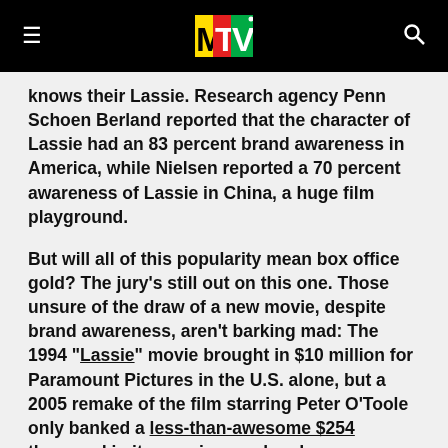MTV (logo)
knows their Lassie. Research agency Penn Schoen Berland reported that the character of Lassie had an 83 percent brand awareness in America, while Nielsen reported a 70 percent awareness of Lassie in China, a huge film playground.
But will all of this popularity mean box office gold? The jury's still out on this one. Those unsure of the draw of a new movie, despite brand awareness, aren't barking mad: The 1994 "Lassie" movie brought in $10 million for Paramount Pictures in the U.S. alone, but a 2005 remake of the film starring Peter O'Toole only banked a less-than-awesome $254 thousand in its opening weekend.
There's also a new fear: the "'Ranger' effect." Disney